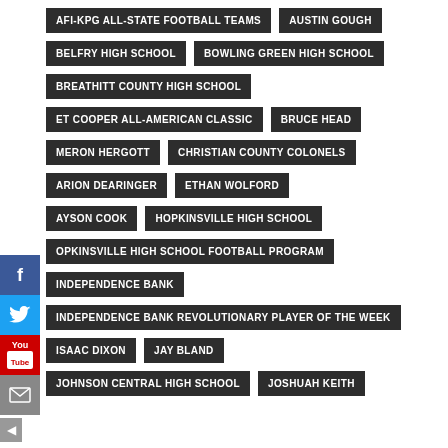AFI-KPG ALL-STATE FOOTBALL TEAMS
AUSTIN GOUGH
BELFRY HIGH SCHOOL
BOWLING GREEN HIGH SCHOOL
BREATHITT COUNTY HIGH SCHOOL
ET COOPER ALL-AMERICAN CLASSIC
BRUCE HEAD
MERON HERGOTT
CHRISTIAN COUNTY COLONELS
ARION DEARINGER
ETHAN WOLFORD
AYSON COOK
HOPKINSVILLE HIGH SCHOOL
OPKINSVILLE HIGH SCHOOL FOOTBALL PROGRAM
INDEPENDENCE BANK
INDEPENDENCE BANK REVOLUTIONARY PLAYER OF THE WEEK
ISAAC DIXON
JAY BLAND
JOHNSON CENTRAL HIGH SCHOOL
JOSHUAH KEITH